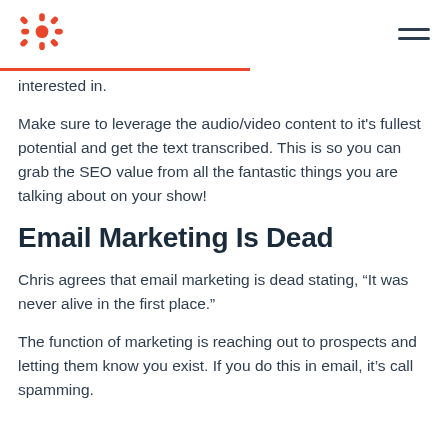HubSpot logo and navigation
interested in.
Make sure to leverage the audio/video content to it's fullest potential and get the text transcribed. This is so you can grab the SEO value from all the fantastic things you are talking about on your show!
Email Marketing Is Dead
Chris agrees that email marketing is dead stating, “It was never alive in the first place.”
The function of marketing is reaching out to prospects and letting them know you exist. If you do this in email, it’s call spamming.